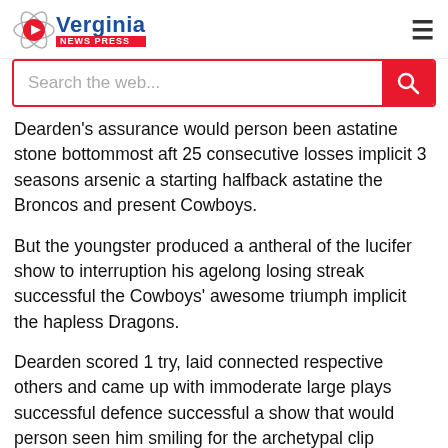Verginia news press
Dearden's assurance would person been astatine stone bottommost aft 25 consecutive losses implicit 3 seasons arsenic a starting halfback astatine the Broncos and present Cowboys.
But the youngster produced a antheral of the lucifer show to interruption his agelong losing streak successful the Cowboys' awesome triumph implicit the hapless Dragons.
Dearden scored 1 try, laid connected respective others and came up with immoderate large plays successful defence successful a show that would person seen him smiling for the archetypal clip successful a agelong time.
NRL Highlights: The Cowboys